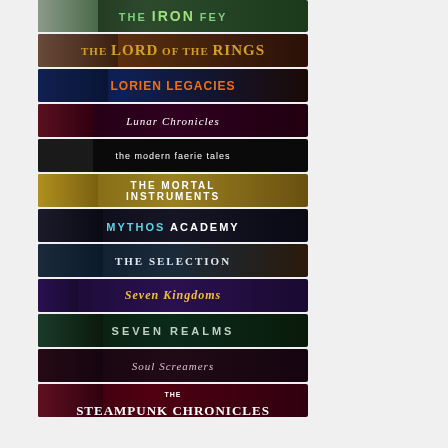[Figure (illustration): The Iron Fey book series banner - dark green background with eye and series title text]
[Figure (illustration): The Lord of the Rings book series banner - dark brown background with face and gold text]
[Figure (illustration): Lorien Legacies book series banner - dark blue/orange background with orange series title]
[Figure (illustration): Lunar Chronicles book series banner - dark red background with red shoe and white italic text]
[Figure (illustration): The Modern Faerie Tales book series banner - black background with sword and white text]
[Figure (illustration): The Mortal Instruments book series banner - golden background with white bold text]
[Figure (illustration): Mythos Academy book series banner - dark background with face and cyan/white text]
[Figure (illustration): The Selection book series banner - dark blue background with woman and white text]
[Figure (illustration): Seven Kingdoms book series banner - dark purple background with gold italic text]
[Figure (illustration): Seven Realms book series banner - dark teal background with light text]
[Figure (illustration): Soul Screamers book series banner - dark purple/pink background with light italic text]
[Figure (illustration): The Steampunk Chronicles book series banner - dark red background with woman and white text]